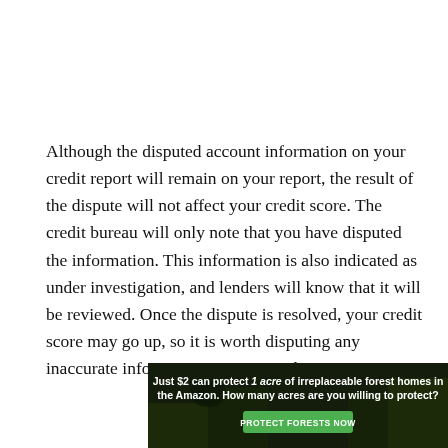Although the disputed account information on your credit report will remain on your report, the result of the dispute will not affect your credit score. The credit bureau will only note that you have disputed the information. This information is also indicated as under investigation, and lenders will know that it will be reviewed. Once the dispute is resolved, your credit score may go up, so it is worth disputing any inaccurate information on your credit report.
If the information is verified accurately, it will remain on your report. If you have disputed it as inaccurate, you can send an explanatory letter to the credit bureaus explaining your dispute. However, suppose the bureaus find that the
[Figure (infographic): Advertisement banner with dark forest background. Text reads: 'Just $2 can protect 1 acre of irreplaceable forest homes in the Amazon. How many acres are you willing to protect?' with a green 'PROTECT FORESTS NOW' button.]